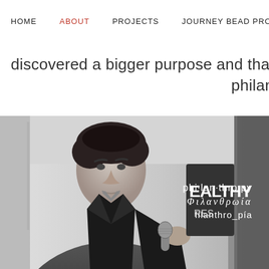HOME  ABOUT  PROJECTS  JOURNEY BEAD PROGRAM  N
discovered a bigger purpose and that is helpi... philan
[Figure (photo): Black and white photo of a man in a dark jacket speaking into a microphone, with overlaid text showing: phi·lan·thro·py / Φιλανθρωία / filanthro_pía]